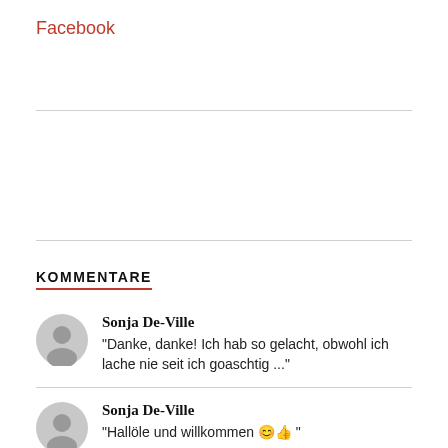Facebook
KOMMENTARE
Sonja De-Ville
"Danke, danke! Ich hab so gelacht, obwohl ich lache nie seit ich goaschtig ..."
Sonja De-Ville
"Hallöle und willkommen 😊👍 "
Sonja De-Ville